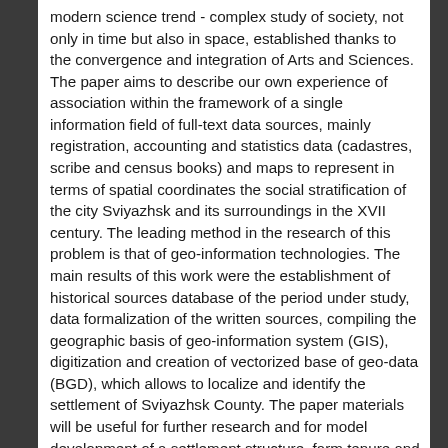modern science trend - complex study of society, not only in time but also in space, established thanks to the convergence and integration of Arts and Sciences. The paper aims to describe our own experience of association within the framework of a single information field of full-text data sources, mainly registration, accounting and statistics data (cadastres, scribe and census books) and maps to represent in terms of spatial coordinates the social stratification of the city Sviyazhsk and its surroundings in the XVII century. The leading method in the research of this problem is that of geo-information technologies. The main results of this work were the establishment of historical sources database of the period under study, data formalization of the written sources, compiling the geographic basis of geo-information system (GIS), digitization and creation of vectorized base of geo-data (BGD), which allows to localize and identify the settlement of Sviyazhsk County. The paper materials will be useful for further research and for model development of a settlement structure, farm tenure and land use, social stratification of the population and multifaceted relationships of towns and villages (amounts) in the Middle Volga region in the